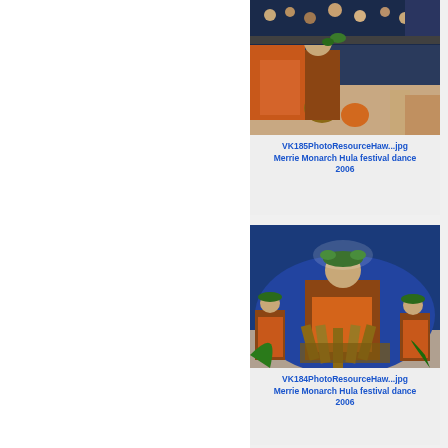[Figure (photo): Merrie Monarch Hula festival dancers 2006 - performers with gourd instruments, audience visible in background]
VK185PhotoResourceHaw...jpg
Merrie Monarch Hula festival dance
2006
[Figure (photo): Merrie Monarch Hula festival dancers 2006 - three performers in traditional orange and woven costumes with leaf headdresses on stage]
VK184PhotoResourceHaw...jpg
Merrie Monarch Hula festival dance
2006